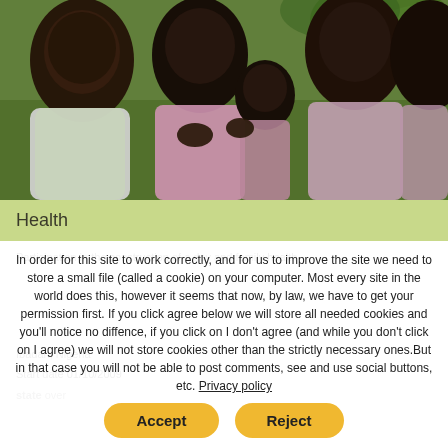[Figure (photo): Group of African children and youth seated outdoors, wearing pink and white clothing, with green foliage in background.]
Health
Participation in the construction of a day and family health
Ibadan, Nigeria
Start date 01/10/2009
state over
In order for this site to work correctly, and for us to improve the site we need to store a small file (called a cookie) on your computer. Most every site in the world does this, however it seems that now, by law, we have to get your permission first. If you click agree below we will store all needed cookies and you'll notice no diffence, if you click on I don't agree (and while you don't click on I agree) we will not store cookies other than the strictly necessary ones. But in that case you will not be able to post comments, see and use social buttons, etc. Privacy policy
Accept
Reject